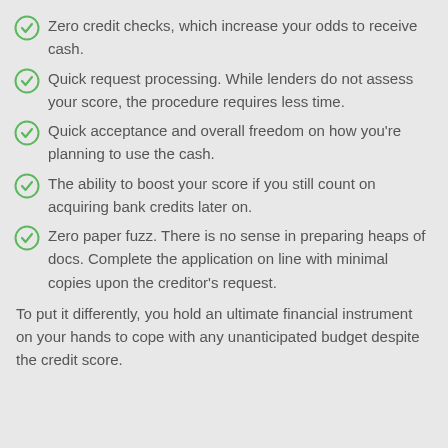Zero credit checks, which increase your odds to receive cash.
Quick request processing. While lenders do not assess your score, the procedure requires less time.
Quick acceptance and overall freedom on how you're planning to use the cash.
The ability to boost your score if you still count on acquiring bank credits later on.
Zero paper fuzz. There is no sense in preparing heaps of docs. Complete the application on line with minimal copies upon the creditor's request.
To put it differently, you hold an ultimate financial instrument on your hands to cope with any unanticipated budget despite the credit score.